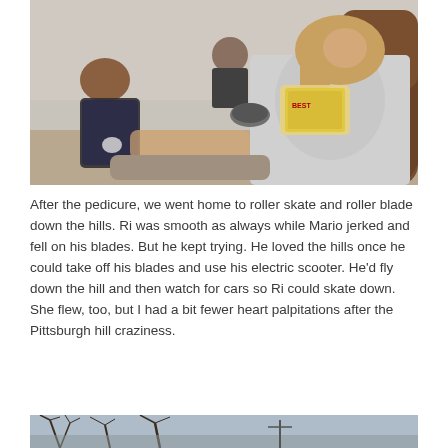[Figure (photo): Indoor photo of a nail salon pedicure session. A technician kneels working on a client's feet. A larger girl sits in a massage chair reading a magazine. A younger boy sits in the background.]
After the pedicure, we went home to roller skate and roller blade down the hills. Ri was smooth as always while Mario jerked and fell on his blades. But he kept trying. He loved the hills once he could take off his blades and use his electric scooter. He'd fly down the hill and then watch for cars so Ri could skate down. She flew, too, but I had a bit fewer heart palpitations after the Pittsburgh hill craziness.
[Figure (photo): Outdoor winter photo showing bare tree branches against a grey sky, with a street scene visible below.]